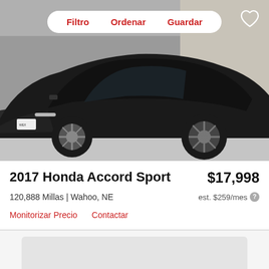[Figure (photo): Black 2017 Honda Accord Sport sedan photographed from front-left angle in a garage/showroom with gray floor. Navigation bar with 'Filtro', 'Ordenar', 'Guardar' and a heart icon overlay.]
2017 Honda Accord Sport
$17,998
120,888 Millas | Wahoo, NE
est. $259/mes
Monitorizar Precio    Contactar